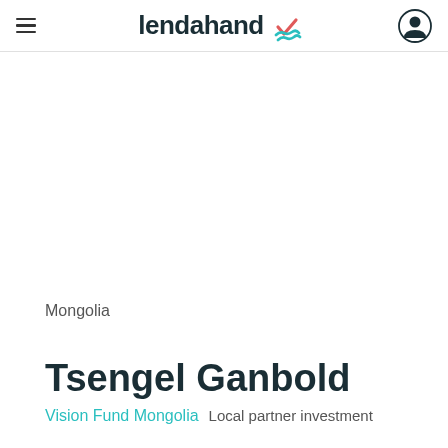lendahand
Mongolia
Tsengel Ganbold
Vision Fund Mongolia   Local partner investment